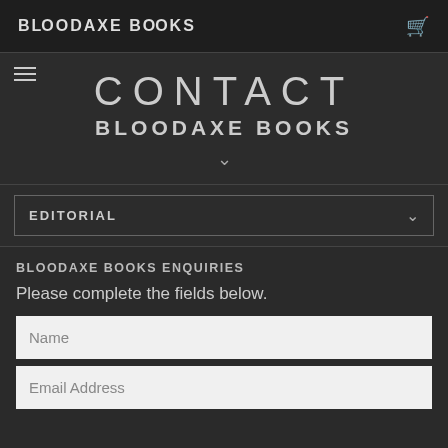BLOODAXE BOOKS
CONTACT
BLOODAXE BOOKS
EDITORIAL
BLOODAXE BOOKS ENQUIRIES
Please complete the fields below.
Name
Email Address